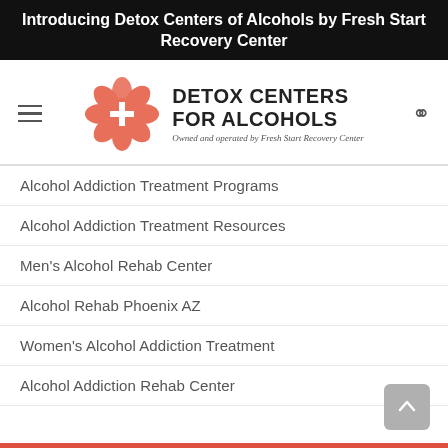Introducing Detox Centers of Alcohols by Fresh Start Recovery Center
[Figure (logo): Detox Centers for Alcohols logo: a salmon/coral flower with a white plus sign, next to bold text 'DETOX CENTERS FOR ALCOHOLS' with subtitle 'Owned and operated by Fresh Start Recovery Center'. Hamburger menu icon on left, search icon on right.]
Alcohol Addiction Treatment Programs
Alcohol Addiction Treatment Resources
Men's Alcohol Rehab Center
Alcohol Rehab Phoenix AZ
Women's Alcohol Addiction Treatment
Alcohol Addiction Rehab Center